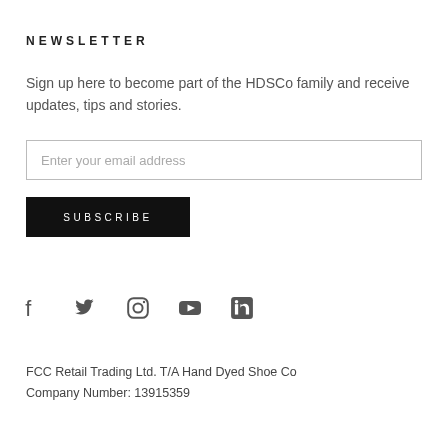NEWSLETTER
Sign up here to become part of the HDSCo family and receive updates, tips and stories.
[Figure (screenshot): Email input field with placeholder text 'Enter your email address']
[Figure (screenshot): Black SUBSCRIBE button]
[Figure (infographic): Row of social media icons: Facebook, Twitter, Instagram, YouTube, LinkedIn]
FCC Retail Trading Ltd. T/A Hand Dyed Shoe Co
Company Number: 13915359